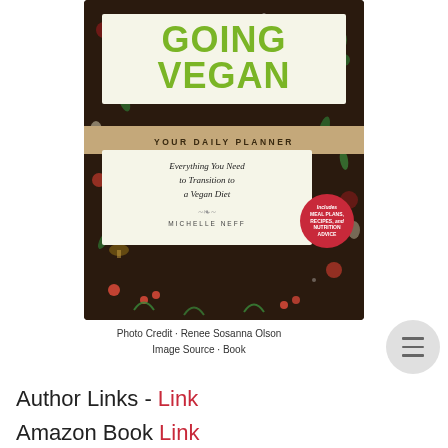[Figure (photo): A photograph of the book 'Going Vegan: Your Daily Planner – Everything You Need to Transition to a Vegan Diet' by Michelle Neff. The book cover has a dark floral background with a white box showing the title in green letters, a tan banner reading 'YOUR DAILY PLANNER', and a red circle badge reading 'Includes Meal Plans, Recipes, and Nutrition Advice'.]
Photo Credit · Renee Sosanna Olson
Image Source · Book
Author Links - Link
Amazon Book Link